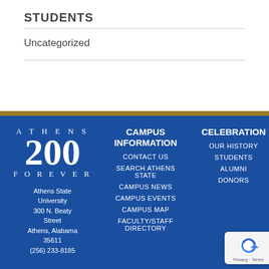STUDENTS
Uncategorized
[Figure (logo): Athens 200 Forever logo — Athens State University 200th anniversary logo with large '200' numeral]
Athens State University
300 N. Beaty Street
Athens, Alabama 35611
(256) 233-8185
CAMPUS INFORMATION
CONTACT US
SEARCH ATHENS STATE
CAMPUS NEWS
CAMPUS EVENTS
CAMPUS MAP
FACULTY/STAFF DIRECTORY
CELEBRATION
OUR HISTORY
STUDENTS
ALUMNI
DONORS